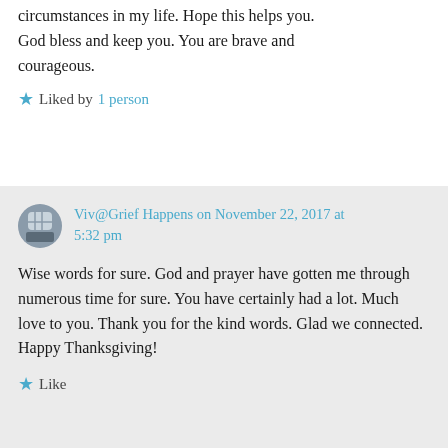circumstances in my life. Hope this helps you. God bless and keep you. You are brave and courageous.
★ Liked by 1 person
Viv@Grief Happens on November 22, 2017 at 5:32 pm
Wise words for sure. God and prayer have gotten me through numerous time for sure. You have certainly had a lot. Much love to you. Thank you for the kind words. Glad we connected. Happy Thanksgiving!
★ Like